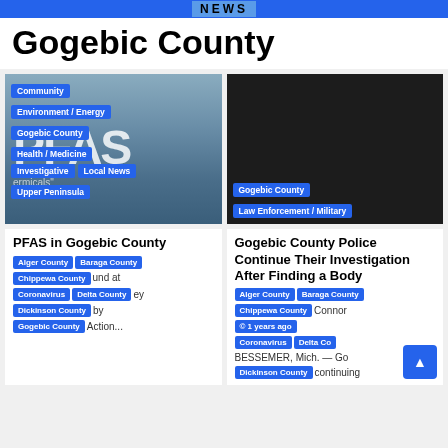NEWS
Gogebic County
[Figure (photo): Left card image showing water/lake background with PFAS text overlay and category tags: Community, Environment / Energy, Gogebic County, Health / Medicine, Investigative, Local News, Upper Peninsula]
[Figure (photo): Right card image with dark background and tags: Gogebic County, Law Enforcement / Military]
PFAS in Gogebic County
Alger County
Baraga County
Chippewa County
und at
Coronavirus
Delta County
ey
Dickinson County
by
Gogebic County
Action...
Gogebic County Police Continue Their Investigation After Finding a Body
Alger County
Baraga County
Chippewa County
© 1 years ago Connor
Coronavirus
Delta Co
BESSEMER, Mich. — Go
Dickinson County
continuing